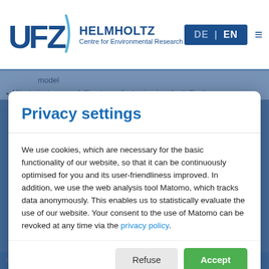[Figure (logo): UFZ Helmholtz Centre for Environmental Research logo]
model
Nitrate isotope modelling to evaluate riparian denitrification
Privacy settings
We use cookies, which are necessary for the basic functionality of our website, so that it can be continuously optimised for you and its user-friendliness improved. In addition, we use the web analysis tool Matomo, which tracks data anonymously. This enables us to statistically evaluate the use of our website. Your consent to the use of Matomo can be revoked at any time via the privacy policy.